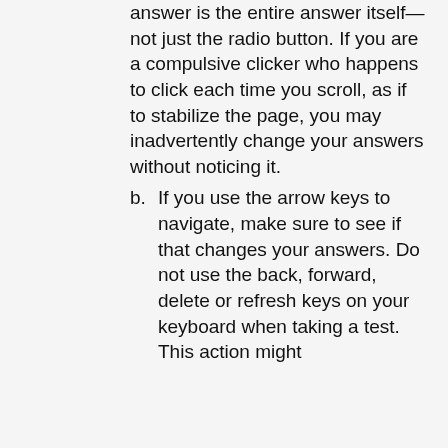answer is the entire answer itself—not just the radio button. If you are a compulsive clicker who happens to click each time you scroll, as if to stabilize the page, you may inadvertently change your answers without noticing it.
b. If you use the arrow keys to navigate, make sure to see if that changes your answers. Do not use the back, forward, delete or refresh keys on your keyboard when taking a test. This action might